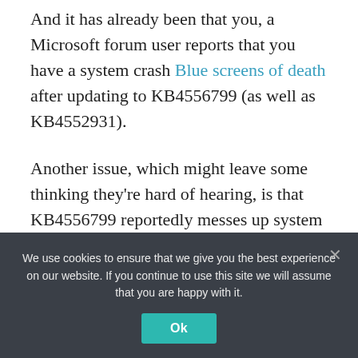And it has already been that you, a Microsoft forum user reports that you have a system crash Blue screens of death after updating to KB4556799 (as well as KB4552931).
Another issue, which might leave some thinking they're hard of hearing, is that KB4556799 reportedly messes up system audio. Apparently it does this by removing drivers and resetting settings. Sound distortion, playback, and lack of audio are the big warning signs of this problem. Some even
We use cookies to ensure that we give you the best experience on our website. If you continue to use this site we will assume that you are happy with it.